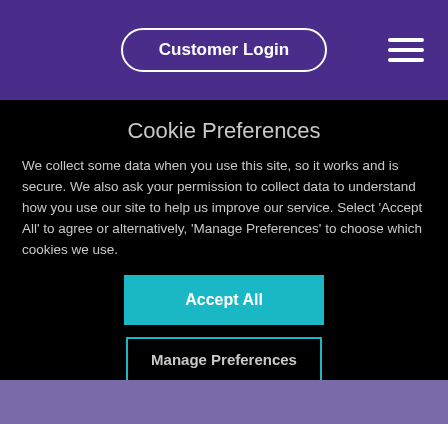Customer Login
Cookie Preferences
We collect some data when you use this site, so it works and is secure. We also ask your permission to collect data to understand how you use our site to help us improve our service. Select 'Accept All' to agree or alternatively, 'Manage Preferences' to choose which cookies we use.
Accept All
Manage Preferences